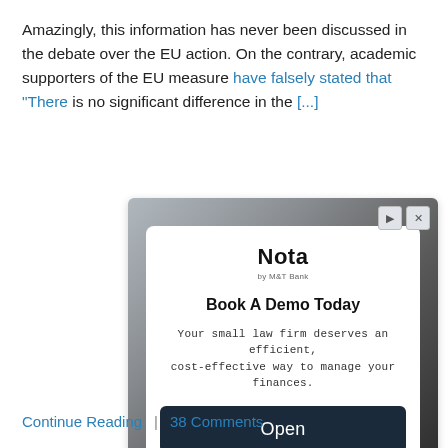Amazingly, this information has never been discussed in the debate over the EU action. On the contrary, academic supporters of the EU measure have falsely stated that “There is no significant difference in the […]
[Figure (screenshot): Advertisement for Nota by M&T Bank. Contains logo 'Nota by M&T Bank', headline 'Book A Demo Today', body text 'Your small law firm deserves an efficient, cost-effective way to manage your finances.', and a dark blue 'Open' button. Ad has a dark gradient background with a white inner card.]
Continue Reading | 38 Comments